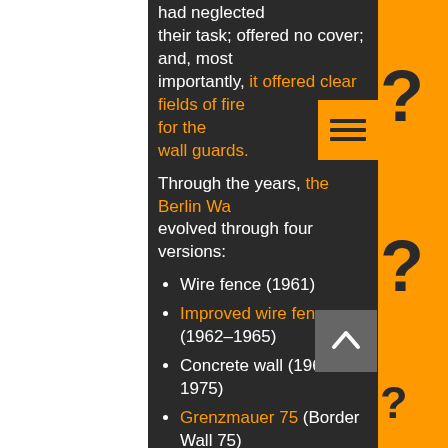had neglected their task; offered no cover; and, most importantly, it offered clear fields of fire for the wall guards.
Through the years, the Berlin Wall evolved through four versions:
Wire fence (1961)
Improved wire fence (1962–1965)
Concrete wall (1965–1975)
Grenzmauer 75 (Border Wall 75) (1975–1989)
The "fourth-generation wall", known officially as "Stützwandelement UL 12.11" (retaining wall element UL 12.11), was the final and most sophisticated version of the Wall. Begun in 1975 and completed about 1980, it was constructed from 45,000 separate sections of reinforced concrete, each...